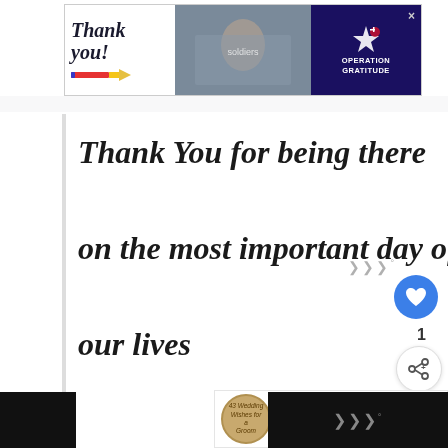[Figure (infographic): Advertisement banner for Operation Gratitude with 'Thank you!' text and pencil graphic on white left section, soldiers photo in middle, and dark blue right section with Operation Gratitude logo and star graphic. Close button (X) in top right.]
Thank You for being there on the most important day of our lives
[Figure (infographic): Circular 'What's Next' recommendation thumbnail showing '43 Wedding Wishes for a...' with decorative circular image]